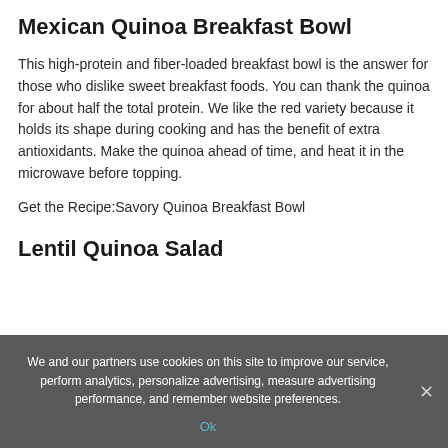Mexican Quinoa Breakfast Bowl
This high-protein and fiber-loaded breakfast bowl is the answer for those who dislike sweet breakfast foods. You can thank the quinoa for about half the total protein. We like the red variety because it holds its shape during cooking and has the benefit of extra antioxidants. Make the quinoa ahead of time, and heat it in the microwave before topping.
Get the Recipe:Savory Quinoa Breakfast Bowl
Lentil Quinoa Salad
We and our partners use cookies on this site to improve our service, perform analytics, personalize advertising, measure advertising performance, and remember website preferences. Ok